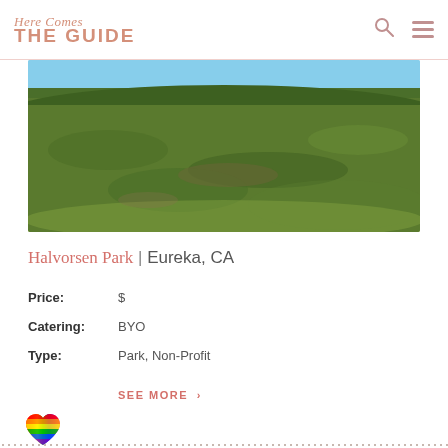Here Comes THE GUIDE
[Figure (photo): Grassy hillside park landscape with blue sky in background, green grass covering rolling terrain — Halvorsen Park, Eureka CA]
Halvorsen Park | Eureka, CA
Price: $
Catering: BYO
Type: Park, Non-Profit
SEE MORE >
[Figure (illustration): Rainbow pride heart emoji icon]